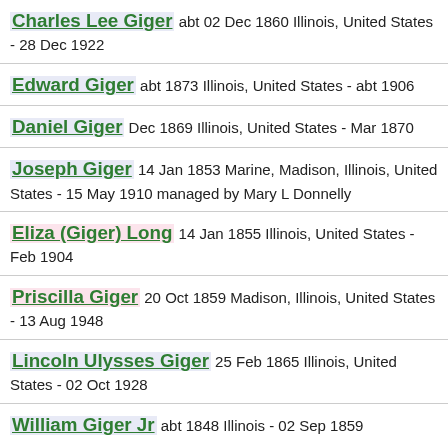Charles Lee Giger abt 02 Dec 1860 Illinois, United States - 28 Dec 1922
Edward Giger abt 1873 Illinois, United States - abt 1906
Daniel Giger Dec 1869 Illinois, United States - Mar 1870
Joseph Giger 14 Jan 1853 Marine, Madison, Illinois, United States - 15 May 1910 managed by Mary L Donnelly
Eliza (Giger) Long 14 Jan 1855 Illinois, United States - Feb 1904
Priscilla Giger 20 Oct 1859 Madison, Illinois, United States - 13 Aug 1948
Lincoln Ulysses Giger 25 Feb 1865 Illinois, United States - 02 Oct 1928
William Giger Jr abt 1848 Illinois - 02 Sep 1859